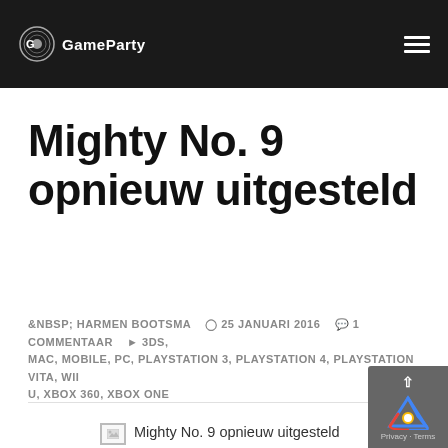GameParty
Mighty No. 9 opnieuw uitgesteld
HARMEN BOOTSMA   25 JANUARI 2016   1 COMMENTAAR   3DS, MAC, MOBILE, PC, PLAYSTATION 3, PLAYSTATION 4, PLAYSTATION VITA, WII U, XBOX 360, XBOX ONE
Mighty No. 9 opnieuw uitgesteld